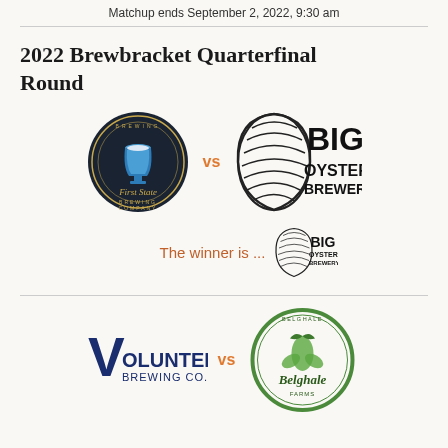Matchup ends September 2, 2022, 9:30 am
2022 Brewbracket Quarterfinal Round
[Figure (logo): First State Brewing Company logo vs Big Oyster Brewery logo matchup with winner shown as Big Oyster Brewery]
[Figure (logo): Volunteer Brewing Co. logo vs Belgrade brewing logo matchup]